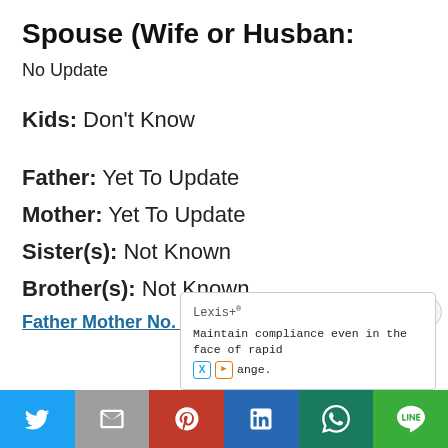Spouse (Wife or Husban:
No Update
Kids: Don't Know
Father: Yet To Update
Mother: Yet To Update
Sister(s): Not Known
Brother(s): Not Known
Father Mother No. Of. Brothers No. Of. Sisters
Lexis+® Maintain compliance even in the face of rapid change.
[Figure (infographic): Social share bar with Twitter, Gmail, Pinterest, LinkedIn, WhatsApp, and Line icons]